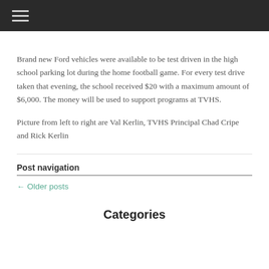≡
Brand new Ford vehicles were available to be test driven in the high school parking lot during the home football game. For every test drive taken that evening, the school received $20 with a maximum amount of $6,000. The money will be used to support programs at TVHS.
Picture from left to right are Val Kerlin, TVHS Principal Chad Cripe and Rick Kerlin
Post navigation
← Older posts
Categories